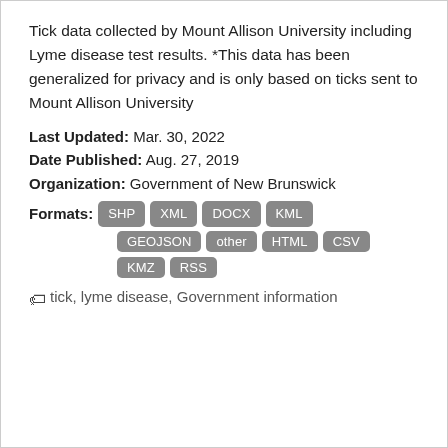Tick data collected by Mount Allison University including Lyme disease test results. *This data has been generalized for privacy and is only based on ticks sent to Mount Allison University
Last Updated: Mar. 30, 2022
Date Published: Aug. 27, 2019
Organization: Government of New Brunswick
Formats: SHP XML DOCX KML GEOJSON other HTML CSV KMZ RSS
tick, lyme disease, Government information